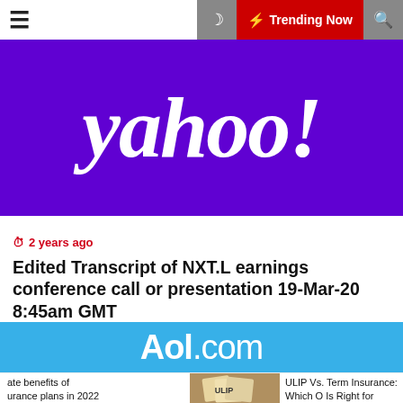☰  🌙  ⚡ Trending Now  🔍
[Figure (logo): Yahoo! logo — white italic bold text on purple background]
⏰ 2 years ago
Edited Transcript of NXT.L earnings conference call or presentation 19-Mar-20 8:45am GMT
[Figure (logo): AOL.com logo — white bold text on sky-blue background]
ate benefits of urance plans in 2022
[Figure (photo): ULIP insurance documents photo]
ULIP Vs. Term Insurance: Which O Is Right for You?